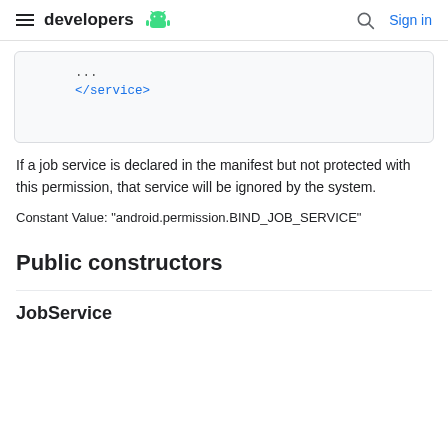developers [Android logo] ... Sign in
...
</service>
If a job service is declared in the manifest but not protected with this permission, that service will be ignored by the system.
Constant Value: "android.permission.BIND_JOB_SERVICE"
Public constructors
JobService